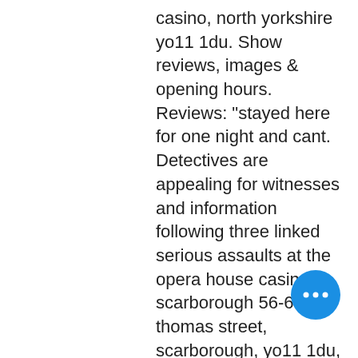casino, north yorkshire yo11 1du. Show reviews, images &amp; opening hours. Reviews: &quot;stayed here for one night and cant. Detectives are appealing for witnesses and information following three linked serious assaults at the opera house casino in scarborough 56-64 st thomas street, scarborough, yo11 1du, united kingdom. 01723357940 · www. Read our in-depth review of opera house casino to find out about the venue's opening hours, membership, table games, slots, live entertainment and more! Plan to visit opera house casino, united kingdom. Get details of location, timings and contact. Find the reviews and ratings to know better. It happened in the rear smoking area of the opera house casino on st thomas street, scarborough, at around 5. Opera house casino was designed and developed to provide our customers with a pleasant, comfortable and positive experience. This
[Figure (other): Blue circular chat/more-options button with three white dots]